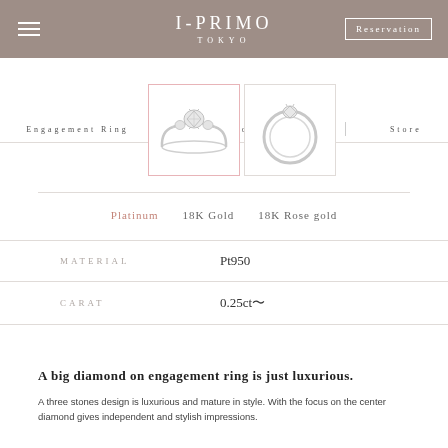I-PRIMO TOKYO | Reservation
Engagement Ring | Wedding Ring | Store
[Figure (photo): Two ring product photos: a three-stone engagement ring (selected, pink border) and a solitaire ring (second view)]
Platinum   18K Gold   18K Rose gold
| Label | Value |
| --- | --- |
| MATERIAL | Pt950 |
| CARAT | 0.25ct〜 |
A big diamond on engagement ring is just luxurious.
A three stones design is luxurious and mature in style. With the focus on the center diamond gives independent and stylish impressions.